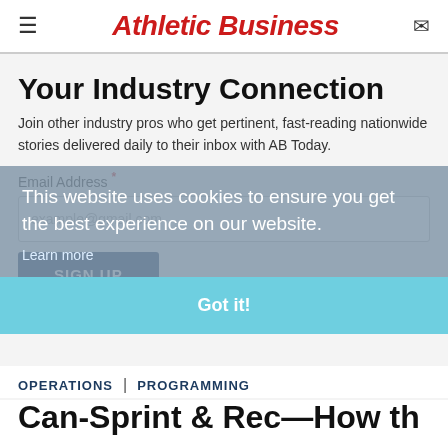Athletic Business
Your Industry Connection
Join other industry pros who get pertinent, fast-reading nationwide stories delivered daily to their inbox with AB Today.
Email Address *
example@gmail.com
SIGN UP
This website uses cookies to ensure you get the best experience on our website.
Learn more
Got it!
OPERATIONS | PROGRAMMING